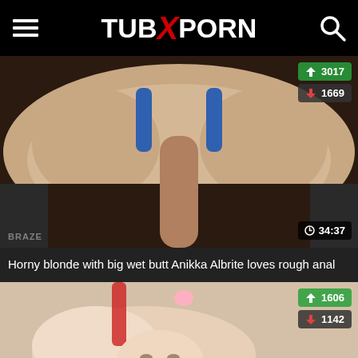TUBXPORN
[Figure (photo): Video thumbnail showing adult content with like count 3017, dislike count 1669, duration 34:37, branding BRAZE]
Horny blonde with big wet butt Anikka Albrite loves rough anal
[Figure (photo): Partial video thumbnail showing adult content with like count 1606, dislike count 1142]